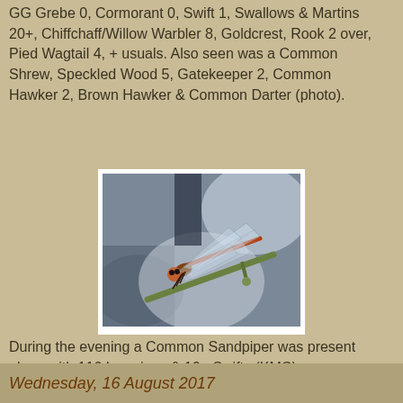GG Grebe 0, Cormorant 0, Swift 1, Swallows & Martins 20+, Chiffchaff/Willow Warbler 8, Goldcrest, Rook 2 over, Pied Wagtail 4, + usuals. Also seen was a Common Shrew, Speckled Wood 5, Gatekeeper 2, Common Hawker 2, Brown Hawker & Common Darter (photo).
[Figure (photo): Close-up photograph of a Common Darter dragonfly perched on a twig, showing reddish-orange body and transparent wings against a blurred background.]
During the evening a Common Sandpiper was present along with 116 Lapwings & 10+ Swifts (KMC).
GWR55 at 18:00    No comments:
Share
Wednesday, 16 August 2017